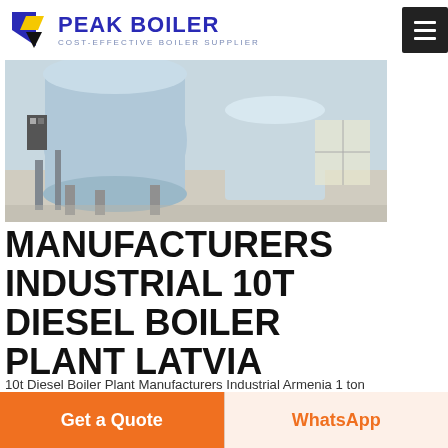PEAK BOILER — COST-EFFECTIVE BOILER SUPPLIER
[Figure (photo): Industrial boiler plant photo showing large cylindrical boilers in a facility]
MANUFACTURERS INDUSTRIAL 10T DIESEL BOILER PLANT LATVIA
10t Diesel Boiler Plant Manufacturers Industrial Armenia 1 ton commercial electric heating boiler systems manufacturers. 20 ton commercial electric heating boiler systems for. Wns Horizontal Gas Oil Fired 20 Ton Steam Boiler Find Best. 08/01/2019· Kefid · The . Read More